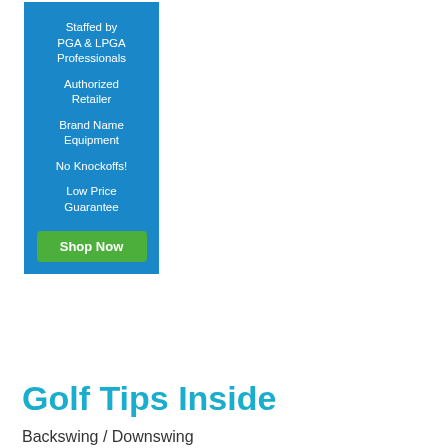[Figure (infographic): Blue banner advertisement for a golf retailer listing: Staffed by PGA & LPGA Professionals, Authorized Retailer, Brand Name Equipment, No Knockoffs!, Low Price Guarantee, with a green Shop Now button]
Golf Tips Inside
Backswing / Downswing